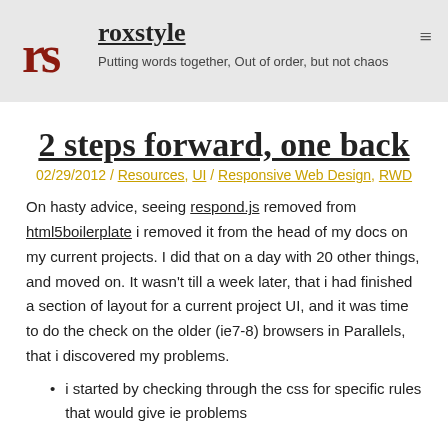roxstyle — Putting words together, Out of order, but not chaos
2 steps forward, one back
02/29/2012 / Resources, UI / Responsive Web Design, RWD
On hasty advice, seeing respond.js removed from html5boilerplate i removed it from the head of my docs on my current projects. I did that on a day with 20 other things, and moved on. It wasn't till a week later, that i had finished a section of layout for a current project UI, and it was time to do the check on the older (ie7-8) browsers in Parallels, that i discovered my problems.
i started by checking through the css for specific rules that would give ie problems